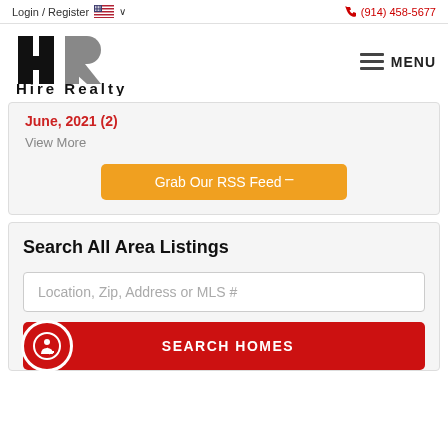Login / Register  🇺🇸 ∨   (914) 458-5677
[Figure (logo): Hire Realty logo - HR letters in black and gray with 'Hire Realty' text below]
MENU
June, 2021  (2)
View More
Grab Our RSS Feed
Search All Area Listings
Location, Zip, Address or MLS #
SEARCH HOMES